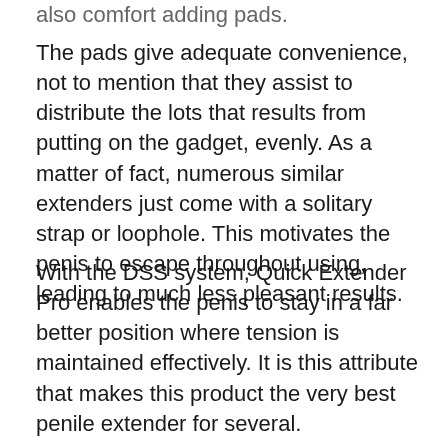also comfort adding pads.
The pads give adequate convenience, not to mention that they assist to distribute the lots that results from putting on the gadget, evenly. As a matter of fact, numerous similar extenders just come with a solitary strap or loophole. This motivates the penis to escape throughout using, leading to much less pleasant results.
With the DSS system, Quick Extender Pro enables the penis to stay in a far better position where tension is maintained effectively. It is this attribute that makes this product the very best penile extender for several.